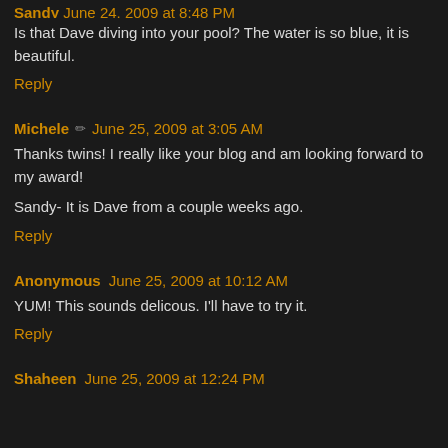Sandy June 24, 2009 at 8:48 PM (partial, top-cropped)
Is that Dave diving into your pool? The water is so blue, it is beautiful.
Reply
Michele June 25, 2009 at 3:05 AM
Thanks twins! I really like your blog and am looking forward to my award!
Sandy- It is Dave from a couple weeks ago.
Reply
Anonymous June 25, 2009 at 10:12 AM
YUM! This sounds delicous. I'll have to try it.
Reply
Shaheen June 25, 2009 at 12:24 PM